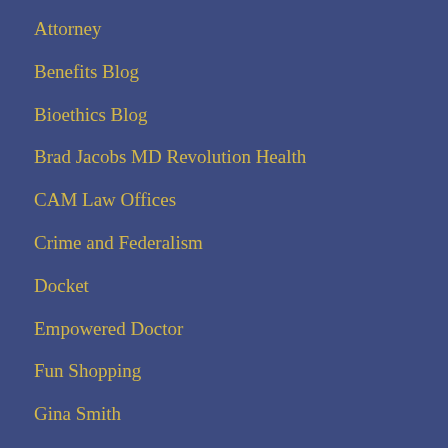Attorney
Benefits Blog
Bioethics Blog
Brad Jacobs MD Revolution Health
CAM Law Offices
Crime and Federalism
Docket
Empowered Doctor
Fun Shopping
Gina Smith
Glycadia
Integrative Mental Health